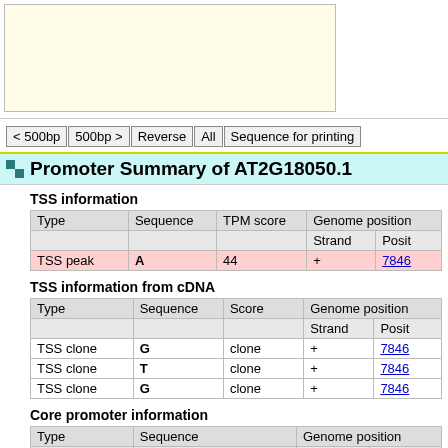[Figure (other): Top area showing a sequence/genome visualization panel (light yellow background) and a side panel]
< 500bp | 500bp > | Reverse | All | Sequence for printing
Promoter Summary of AT2G18050.1
TSS information
| Type | Sequence | TPM score | Genome position |  |
| --- | --- | --- | --- | --- |
|  |  |  | Strand | Posit |
| TSS peak | A | 44 | + | 7846... |
TSS information from cDNA
| Type | Sequence | Score | Genome position |  |
| --- | --- | --- | --- | --- |
|  |  |  | Strand | Posit |
| TSS clone | G | clone | + | 7846... |
| TSS clone | T | clone | + | 7846... |
| TSS clone | G | clone | + | 7846... |
Core promoter information
| Type | Sequence | Genome position |  |
| --- | --- | --- | --- |
|  |  | Strand | Start |